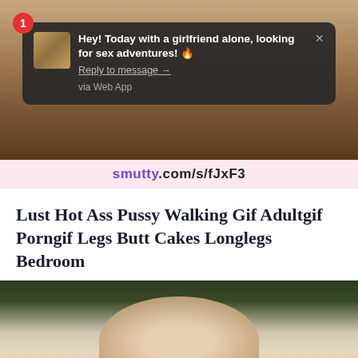[Figure (screenshot): Screenshot of a webpage showing legs/body photo with a dark notification popup overlay. Notification reads: 'Hey! Today with a girlfriend alone, looking for sex adventures! Reply to message → via Web App']
smutty.com/s/fJxF3
Lust Hot Ass Pussy Walking Gif Adultgif Porngif Legs Butt Cakes Longlegs Bedroom
[Figure (photo): Partial photo of a person's body outdoors with blurred green background]